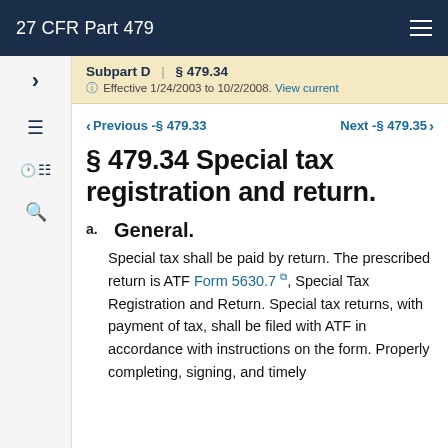27 CFR Part 479
Subpart D | § 479.34
Effective 1/24/2003 to 10/2/2008. View current
Previous - § 479.33    Next - § 479.35
§ 479.34 Special tax registration and return.
a. General.
Special tax shall be paid by return. The prescribed return is ATF Form 5630.7, Special Tax Registration and Return. Special tax returns, with payment of tax, shall be filed with ATF in accordance with instructions on the form. Properly completing, signing, and timely